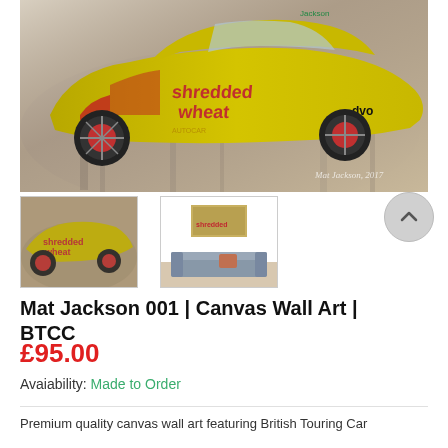[Figure (photo): Main large canvas artwork showing a yellow Shredded Wheat BTCC race car (Mat Jackson) painted in an expressive/artistic style against a smoky grey and beige background. Artist signature 'Mat Jackson, 2017' visible bottom right.]
[Figure (photo): Thumbnail 1: close-up of the Shredded Wheat BTCC car artwork]
[Figure (photo): Thumbnail 2: room mockup showing the canvas artwork hanging on a white wall above a grey sofa]
Mat Jackson 001 | Canvas Wall Art | BTCC
£95.00
Avaiability: Made to Order
Premium quality canvas wall art featuring British Touring Car